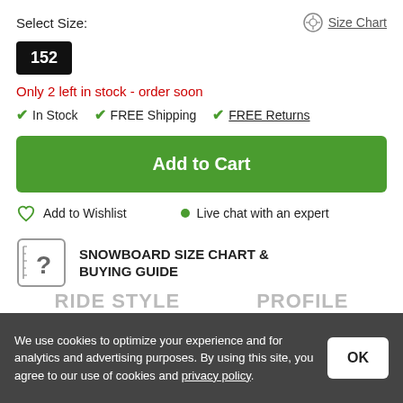Select Size:
Size Chart
152
Only 2 left in stock - order soon
✔ In Stock   ✔ FREE Shipping   ✔ FREE Returns
Add to Cart
Add to Wishlist
● Live chat with an expert
SNOWBOARD SIZE CHART & BUYING GUIDE
RIDE STYLE
PROFILE
We use cookies to optimize your experience and for analytics and advertising purposes. By using this site, you agree to our use of cookies and privacy policy.